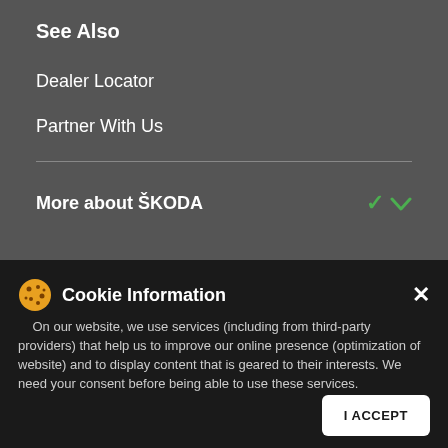See Also
Dealer Locator
Partner With Us
More about ŠKODA
Cookie Information
On our website, we use services (including from third-party providers) that help us to improve our online presence (optimization of website) and to display content that is geared to their interests. We need your consent before being able to use these services.
DISCLAIMERS
Images shown are representational purposes only. Specifications given differ from model to model. Accessories shown may not be standard equipment. Information relating to colours, prices, construction, technical details and equipment was valid at issuance and these are subject to changes without any prior notice.